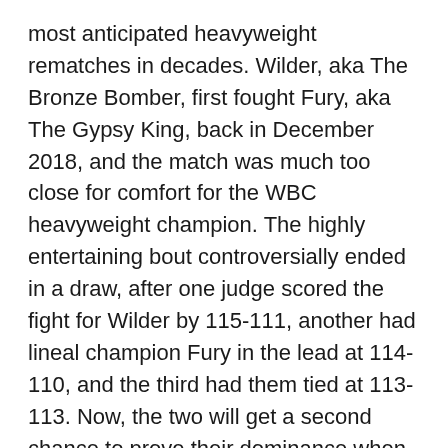most anticipated heavyweight rematches in decades. Wilder, aka The Bronze Bomber, first fought Fury, aka The Gypsy King, back in December 2018, and the match was much too close for comfort for the WBC heavyweight champion. The highly entertaining bout controversially ended in a draw, after one judge scored the fight for Wilder by 115-111, another had lineal champion Fury in the lead at 114-110, and the third had them tied at 113-113. Now, the two will get a second chance to prove their dominance when Wilder vs. Fury 2 takes place at the MGM Grand Garden Arena in Las Vegas this Saturday, Feb. 22, starting at 9/8c.
There's no doubt Wilder will be bringing his